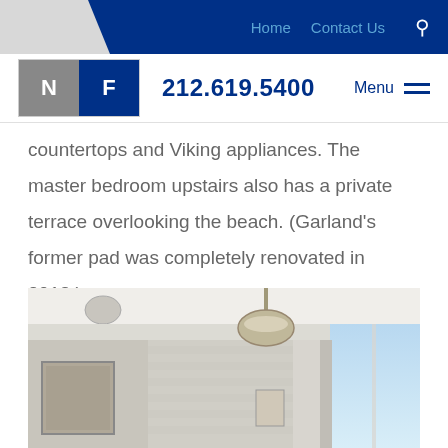Home   Contact Us   🔍
N F   212.619.5400   Menu
countertops and Viking appliances. The master bedroom upstairs also has a private terrace overlooking the beach. (Garland's former pad was completely renovated in 2013.)
[Figure (photo): Interior room photo showing a renovated space with white ceiling beams, a pendant light fixture, brick or tile wall in background, framed artwork on the left wall, and a bright window on the right.]